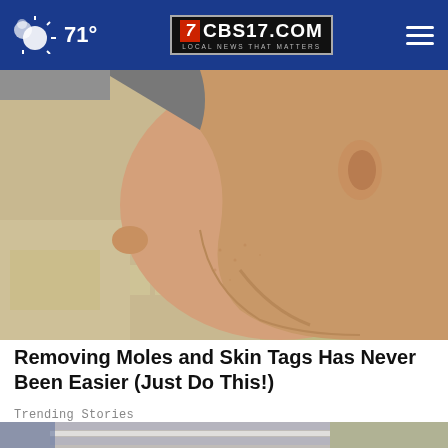71° CBS17.COM LOCAL NEWS THAT MATTERS
[Figure (photo): Side profile of a man's face and neck, showing jawline and skin, kitchen background]
Removing Moles and Skin Tags Has Never Been Easier (Just Do This!)
Trending Stories
[Figure (photo): Person wearing striped shirt, bottom portion of article image with ad overlay. Ad shows: Ashburn OPEN 7:30 AM–6PM, 43781 Parkhurst Plaza, Ashburn]